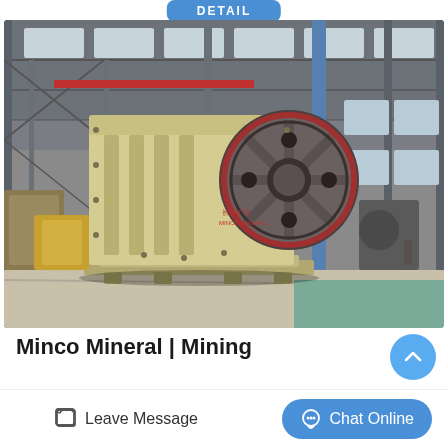[Figure (photo): Large jaw crusher machine photographed in an industrial factory/warehouse setting. The machine is cream/beige colored with a large flywheel on the right side. Factory interior with steel roof trusses visible in background.]
Minco Mineral | Mining
Leave Message
Chat Online